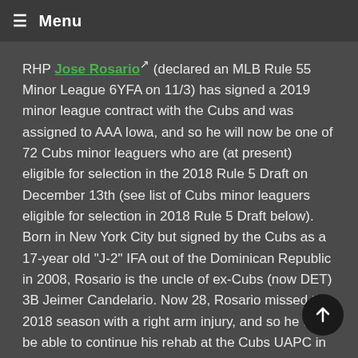≡ Menu
RHP Jose Rosario (declared an MLB Rule 55 Minor League 6YFA on 11/3) has signed a 2019 minor league contract with the Cubs and was assigned to AAA Iowa, and so he will now be one of 72 Cubs minor leaguers who are (at present) eligible for selection in the 2018 Rule 5 Draft on December 13th (see list of Cubs minor leaguers eligible for selection in 2018 Rule 5 Draft below). Born in New York City but signed by the Cubs as a 17-year old "J-2" IFA out of the Dominican Republic in 2008, Rosario is the uncle of ex-Cubs (now DET) 3B Jeimer Candelario. Now 28, Rosario missed the 2018 season with a right arm injury, and so he will be able to continue his rehab at the Cubs UAPC in Mesa in 2019. Rosario has spent his entire pro career with the Cubs, and in fact he has (somewhat amazingly) been a member of the Cubs organization for 11 seasons (2008-2018). He was considered enough of a prospect that he was added to the Cubs MLB 40-man roster after the 2016 World Series to keep him from walking away as a minor league 6YFA at that time, and he was on the 40 as